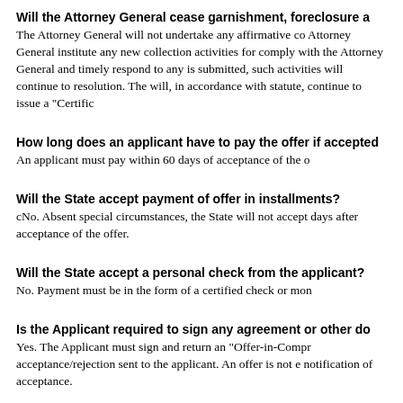Will the Attorney General cease garnishment, foreclosure a
The Attorney General will not undertake any affirmative co Attorney General institute any new collection activities for comply with the Attorney General and timely respond to any is submitted, such activities will continue to resolution. The will, in accordance with statute, continue to issue a "Certific
How long does an applicant have to pay the offer if accepted
An applicant must pay within 60 days of acceptance of the o
Will the State accept payment of offer in installments?
cNo. Absent special circumstances, the State will not accept days after acceptance of the offer.
Will the State accept a personal check from the applicant?
No. Payment must be in the form of a certified check or mon
Is the Applicant required to sign any agreement or other do
Yes. The Applicant must sign and return an "Offer-in-Compr acceptance/rejection sent to the applicant. An offer is not e notification of acceptance.
Does the State of Ohio have any guidelines regarding the m
No. The Attorney General will review each offer on the meri individual situation.